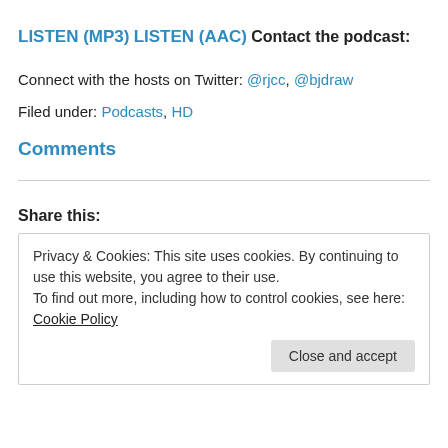LISTEN (MP3)
LISTEN (AAC)
Contact the podcast:
Connect with the hosts on Twitter: @rjcc, @bjdraw
Filed under: Podcasts, HD
Comments
Share this:
Privacy & Cookies: This site uses cookies. By continuing to use this website, you agree to their use. To find out more, including how to control cookies, see here: Cookie Policy